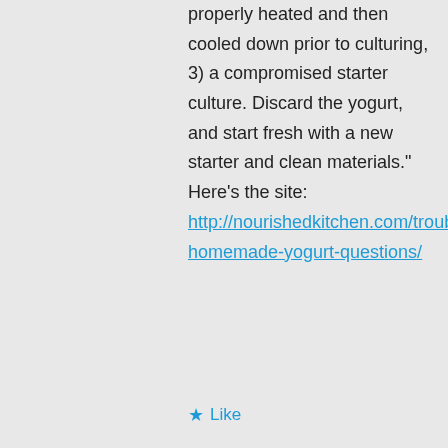properly heated and then cooled down prior to culturing, 3) a compromised starter culture. Discard the yogurt, and start fresh with a new starter and clean materials." Here's the site: http://nourishedkitchen.com/troubleshooting-homemade-yogurt-questions/
Like
Reply
CB on November 13, 2017 at 4:46 pm
I've been thinking about this. I strained the freshly made almond milk right before adding it to the mixture. Then strained it b...